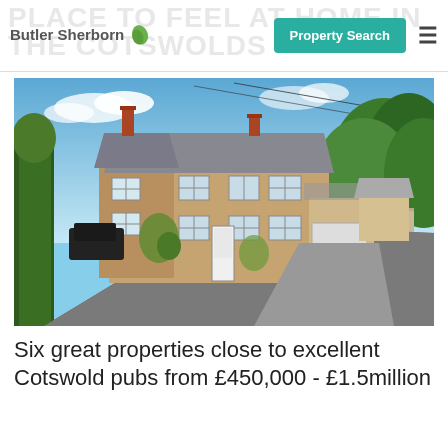Butler Sherborn — Property Search — PLACE TO FEEL AT HOME IN THE COTSWOLDS
[Figure (photo): Exterior photo of a Cotswold stone cottage row beside a country road, surrounded by trees on a sunny day]
Six great properties close to excellent Cotswold pubs from £450,000 - £1.5million